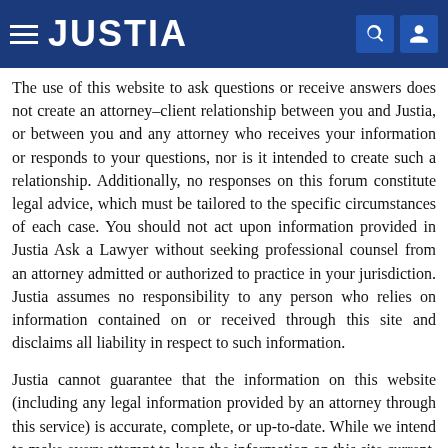JUSTIA
The use of this website to ask questions or receive answers does not create an attorney–client relationship between you and Justia, or between you and any attorney who receives your information or responds to your questions, nor is it intended to create such a relationship. Additionally, no responses on this forum constitute legal advice, which must be tailored to the specific circumstances of each case. You should not act upon information provided in Justia Ask a Lawyer without seeking professional counsel from an attorney admitted or authorized to practice in your jurisdiction. Justia assumes no responsibility to any person who relies on information contained on or received through this site and disclaims all liability in respect to such information.
Justia cannot guarantee that the information on this website (including any legal information provided by an attorney through this service) is accurate, complete, or up-to-date. While we intend to make every attempt to keep the information on this site current, the owners of and contributors to this site make no claims, promises or guarantees about the accuracy